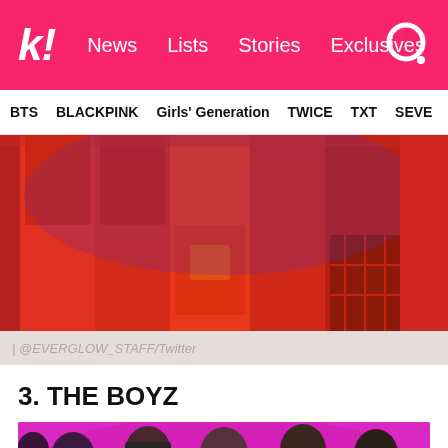k! News Lists Stories Exclusives
BTS  BLACKPINK  Girls' Generation  TWICE  TXT  SEVE
[Figure (photo): Group of young women in red outfits posing together, photo credit @EVERGLOW_STAFF/Twitter]
| @EVERGLOW_STAFF/Twitter
3. THE BOYZ
[Figure (photo): Group of young men against a pink/magenta background]